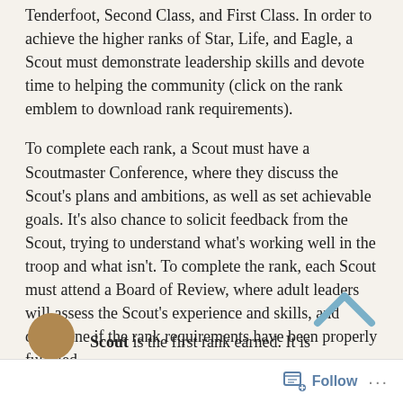Tenderfoot, Second Class, and First Class. In order to achieve the higher ranks of Star, Life, and Eagle, a Scout must demonstrate leadership skills and devote time to helping the community (click on the rank emblem to download rank requirements).
To complete each rank, a Scout must have a Scoutmaster Conference, where they discuss the Scout's plans and ambitions, as well as set achievable goals. It's also chance to solicit feedback from the Scout, trying to understand what's working well in the troop and what isn't. To complete the rank, each Scout must attend a Board of Review, where adult leaders will assess the Scout's experience and skills, and determine if the rank requirements have been properly fulfilled.
Scout is the first rank earned. It is
Follow ...